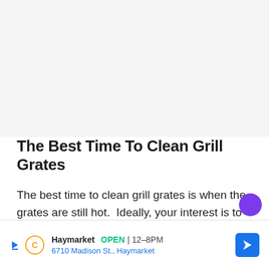The Best Time To Clean Grill Grates
The best time to clean grill grates is when the grates are still hot.  Ideally, your interest is to remove the grease, fats, and any other residue that rests on the grates.
[Figure (other): Advertisement banner for Haymarket showing OPEN 12-8PM, 6710 Madison St., Haymarket with navigation arrow icon]